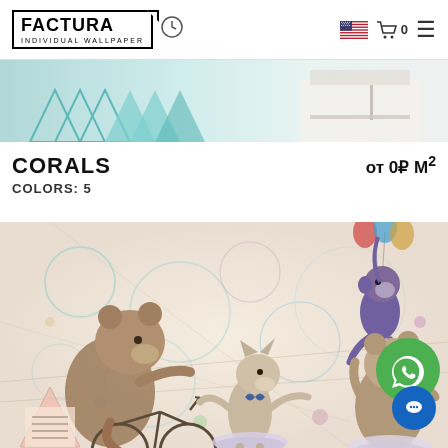FACTURA INDIVIDUAL WALLPAPER
[Figure (photo): Top banner showing a children's room with geometric teal/mint triangle decorations]
CORALS
от 0₽ М²
COLORS: 5
[Figure (illustration): Whimsical circus animals illustration: a bear riding a bicycle, a fox/wolf dancing in a tutu, a monkey hanging from balloons, and a bear cub dancer, with colorful circles and geometric patterns]